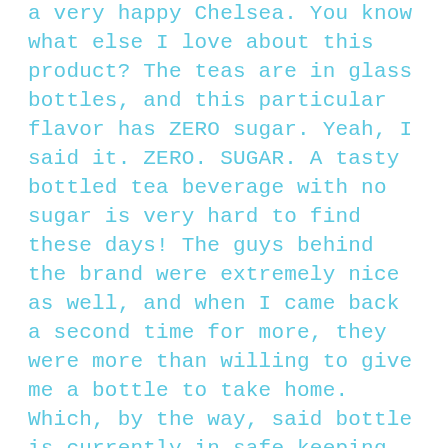a very happy Chelsea. You know what else I love about this product? The teas are in glass bottles, and this particular flavor has ZERO sugar. Yeah, I said it. ZERO. SUGAR. A tasty bottled tea beverage with no sugar is very hard to find these days! The guys behind the brand were extremely nice as well, and when I came back a second time for more, they were more than willing to give me a bottle to take home. Which, by the way, said bottle is currently in safe keeping in my refrigerator because I refuse to drink it yet. I must savor the goodness for as long as possible. I'm pretty sure I could drink this daily and be extremely happy with my life. This is another MUST TRY PRODUCT!